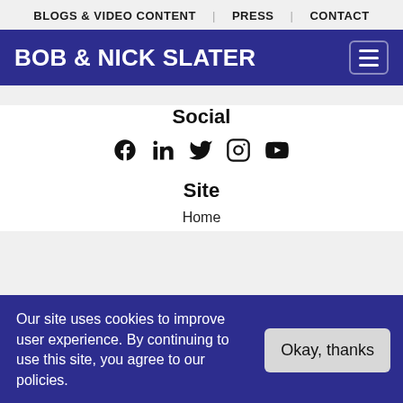BLOGS & VIDEO CONTENT | PRESS | CONTACT
BOB & NICK SLATER
Social
[Figure (other): Row of social media icons: Facebook, LinkedIn, Twitter, Instagram, YouTube]
Site
Home
Our site uses cookies to improve user experience. By continuing to use this site, you agree to our policies.